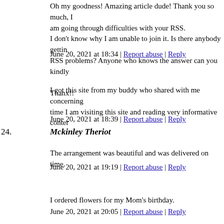Oh my goodness! Amazing article dude! Thank you so much, I am going through difficulties with your RSS. I don't know why I am unable to join it. Is there anybody getting RSS problems? Anyone who knows the answer can you kindly

Thanx!!
June 20, 2021 at 18:34 | Report abuse | Reply
24. Mckinley Theriot
I got this site from my buddy who shared with me concerning time I am visiting this site and reading very informative conter
June 20, 2021 at 18:39 | Report abuse | Reply
25. Jett Bingle
The arrangement was beautiful and was delivered on time.
June 20, 2021 at 19:19 | Report abuse | Reply
26. Florencia Dowse
I ordered flowers for my Mom's birthday.
June 20, 2021 at 20:05 | Report abuse | Reply
27. Octavia Parramore